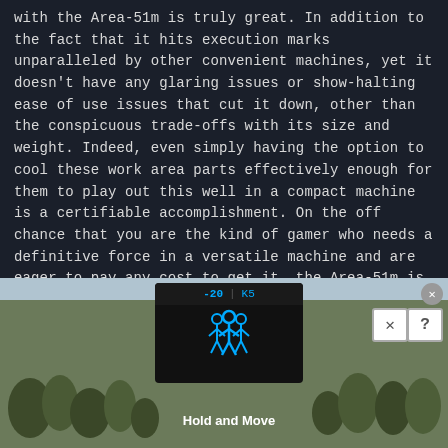with the Area-51m is truly great. In addition to the fact that it hits execution marks unparalleled by other convenient machines, yet it doesn't have any glaring issues or show-halting ease of use issues that cut it down, other than the conspicuous trade-offs with its size and weight. Indeed, even simply having the option to cool these work area parts effectively enough for them to play out this well in a compact machine is a certifiable accomplishment. On the off chance that you are the kind of gamer who needs a definitive force in a versatile machine and are eager to pay any cost to get it, the Area-51m is for you.

With its significant expense of a section of about 9.9 lakhs the Area-51m is determinedly in the
[Figure (screenshot): Advertisement banner showing a mobile game UI with 'Hold and Move' instruction text, blue icons on a black screen, close and help buttons, and background showing trees.]